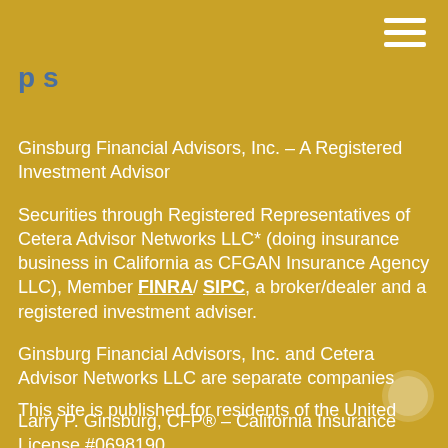p s
Ginsburg Financial Advisors, Inc. &#8211; A Registered Investment Advisor Securities through Registered Representatives of Cetera Advisor Networks LLC* (doing insurance business in California as CFGAN Insurance Agency LLC), Member FINRA/ SIPC, a broker/dealer and a registered investment adviser. Ginsburg Financial Advisors, Inc. and Cetera Advisor Networks LLC are separate companies Larry P. Ginsburg, CFP&#174; &#8211; California Insurance License #0698190
This site is published for residents of the United